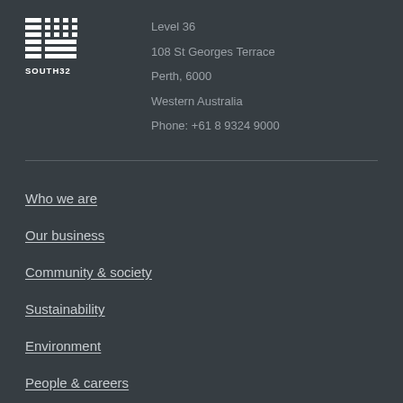[Figure (logo): South32 company logo - geometric grid pattern with horizontal lines and vertical bars, white on dark background, with SOUTH32 text below]
Level 36
108 St Georges Terrace
Perth, 6000
Western Australia
Phone: +61 8 9324 9000
Who we are
Our business
Community & society
Sustainability
Environment
People & careers
Investors & media